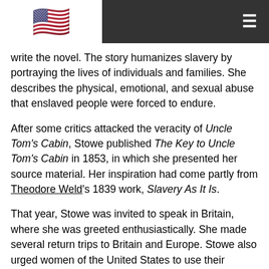Navigation header with US flag and hamburger menu
write the novel. The story humanizes slavery by portraying the lives of individuals and families. She describes the physical, emotional, and sexual abuse that enslaved people were forced to endure.
After some critics attacked the veracity of Uncle Tom's Cabin, Stowe published The Key to Uncle Tom's Cabin in 1853, in which she presented her source material. Her inspiration had come partly from Theodore Weld's 1839 work, Slavery As It Is.
That year, Stowe was invited to speak in Britain, where she was greeted enthusiastically. She made several return trips to Britain and Europe. Stowe also urged women of the United States to use their influence to obtain signatures on petitions, and spread information against slavery.
It was said that Uncle Tom's Cabin contributed to the outbreak of the Civil War by showing the American people the evils of slavery. According to legend, when Stowe met Abraham